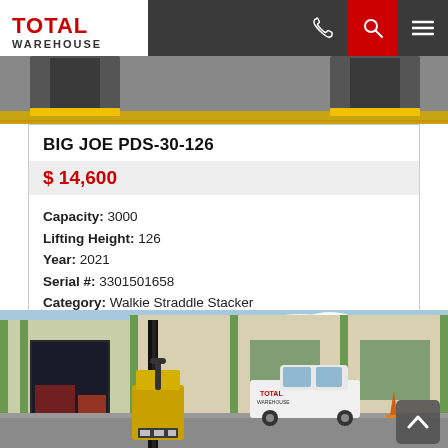Total Warehouse — navigation bar with logo, phone, search, and menu icons
[Figure (photo): Top partial photo of a loading dock area with yellow dock bumpers, grey floor]
BIG JOE PDS-30-126
$ 14,600
Capacity: 3000
Lifting Height: 126
Year: 2021
Serial #: 3301501658
Category: Walkie Straddle Stacker
Location: Pho-Re
[Figure (photo): Photo of a yellow Big Joe walkie straddle stacker forklift in a warehouse/industrial parking area. A white Total Warehouse van is parked in the background. Green-trimmed warehouse buildings are visible. An orange traffic cone is near the van.]